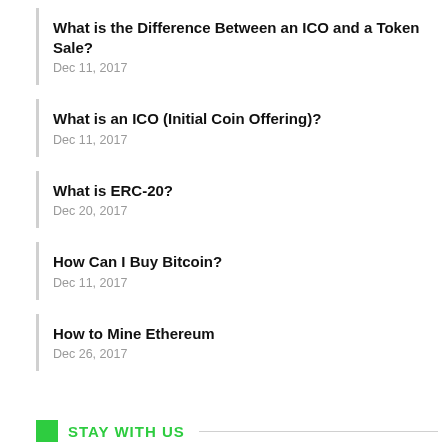What is the Difference Between an ICO and a Token Sale?
Dec 11, 2017
What is an ICO (Initial Coin Offering)?
Dec 11, 2017
What is ERC-20?
Dec 20, 2017
How Can I Buy Bitcoin?
Dec 11, 2017
How to Mine Ethereum
Dec 26, 2017
STAY WITH US